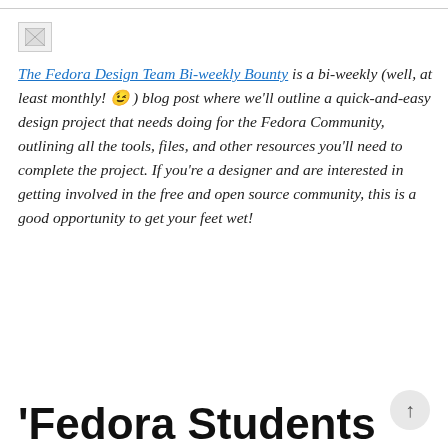[Figure (other): Broken/placeholder image icon in top-left corner]
The Fedora Design Team Bi-weekly Bounty is a bi-weekly (well, at least monthly! 😉 ) blog post where we'll outline a quick-and-easy design project that needs doing for the Fedora Community, outlining all the tools, files, and other resources you'll need to complete the project. If you're a designer and are interested in getting involved in the free and open source community, this is a good opportunity to get your feet wet!
'Fedora Students